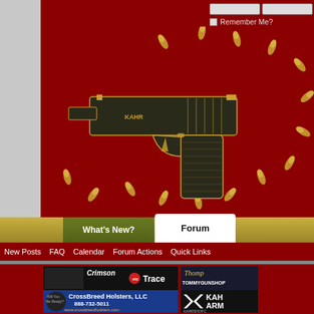[Figure (screenshot): KahrTalk.com forum website screenshot showing dark red header with Kahr pistol illustration and scattered bullet casings, navigation tabs (What's New?, Forum), sub-navigation links (New Posts, FAQ, Calendar, Forum Actions, Quick Links), login fields, Remember Me checkbox, advertisement banners for Crimson Trace, CrossBreed Holsters LLC (888-732-5011, www.crossbreedholsters.com), Thompson/Tommy Guns (TOMMYGUNSHOOTING), and Kahr Arms (KAHRSHOP), plus introductory text about checking out the FAQ and welcome message about KahrTalk.com being the only forum about Kahr products.]
Remember Me?
What's New?
Forum
New Posts
FAQ
Calendar
Forum Actions
Quick Links
Crimson Trace
CrossBreed Holsters, LLC 888-732-5011 www.crossbreedholsters.com
If this is your first visit, be sure to check out the FAQ by clicking the link above before you can post: click the register link above to proceed. To start viewing messages, you want to visit from the selection below.
Welcome to KahrTalk.com, the only forum about Kahr products spo